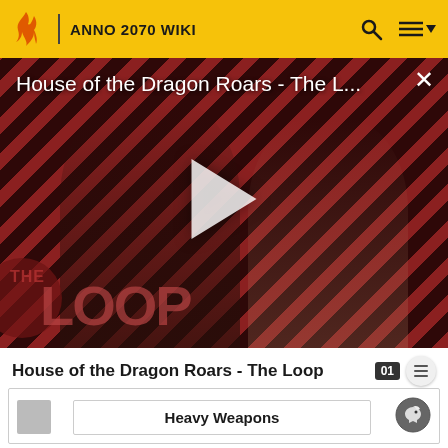ANNO 2070 WIKI
[Figure (screenshot): Video thumbnail showing 'House of the Dragon Roars - The L...' with a play button in the center, THE LOOP branding at the bottom left, characters in the background, diagonal red stripe pattern, and an X close button in the top right.]
House of the Dragon Roars - The Loop
|  | Heavy Weapons |  |
| --- | --- | --- |
|  | Heavy Weapons |  |
| 5300 | -280 | -23 • -41 |